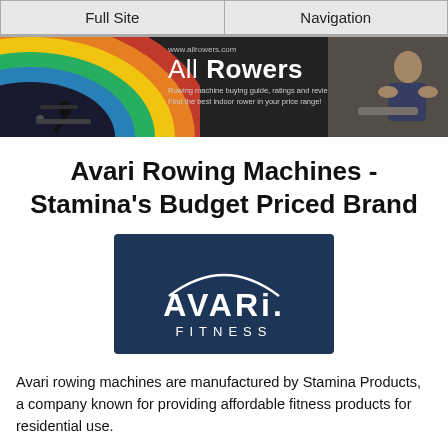Full Site | Navigation
[Figure (illustration): All Rowers website banner with rainbow graphic, silhouette of a person rowing, 'All Rowers' brand name, tagline 'Rowing machine buying guide, ratings and reviews. Find the best indoor rower in your price range!', and a photo of a woman on a rowing machine.]
Avari Rowing Machines - Stamina's Budget Priced Brand
[Figure (logo): Avari Fitness logo - white text on dark navy blue background with arc/swoosh design above the word AVARI and FITNESS below.]
Avari rowing machines are manufactured by Stamina Products, a company known for providing affordable fitness products for residential use.
About the Company
The Avari brand can be found on recumbent and upright bikes, elliptical